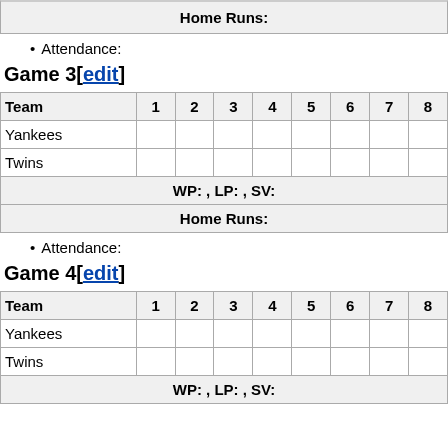| Home Runs: |
Attendance:
Game 3[edit]
| Team | 1 | 2 | 3 | 4 | 5 | 6 | 7 | 8 |
| --- | --- | --- | --- | --- | --- | --- | --- | --- |
| Yankees |  |  |  |  |  |  |  |  |
| Twins |  |  |  |  |  |  |  |  |
| WP: , LP: , SV: | colspan |
| Home Runs: | colspan |
Attendance:
Game 4[edit]
| Team | 1 | 2 | 3 | 4 | 5 | 6 | 7 | 8 |
| --- | --- | --- | --- | --- | --- | --- | --- | --- |
| Yankees |  |  |  |  |  |  |  |  |
| Twins |  |  |  |  |  |  |  |  |
| WP: , LP: , SV: | colspan |